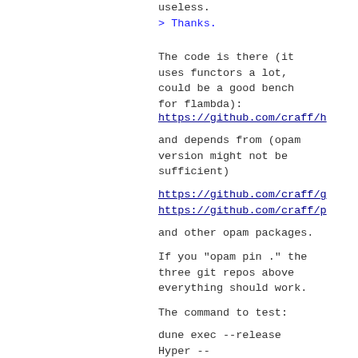useless.
> Thanks.
The code is there (it
uses functors a lot,
could be a good bench
for flambda):
https://github.com/craff/h
and depends from (opam
version might not be
sufficient)
https://github.com/craff/g
https://github.com/craff/p
and other opam packages.
If you "opam pin ." the
three git repos above
everything should work.
The command to test:
dune exec --release
Hyper --
tests/hard/hilbert-
sextic.txt -b